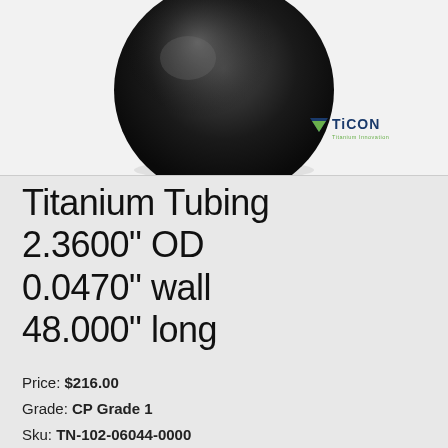[Figure (photo): Product photo of a black titanium tube fitting/ball end against a white background, with the TiCON Titanium Innovation logo in the lower right of the image.]
Titanium Tubing 2.3600" OD 0.0470" wall 48.000" long
Price: $216.00
Grade: CP Grade 1
Sku: TN-102-06044-0000
Availability: In Stock
Quantity: